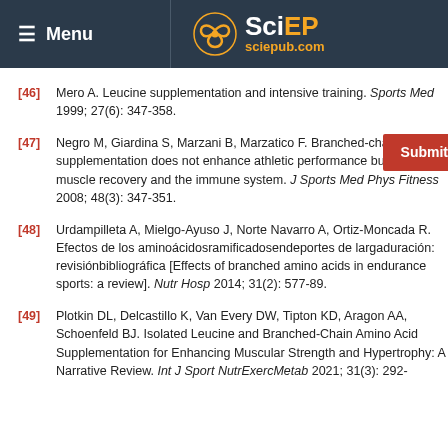Menu | SciEP sciepub.com
[46] Mero A. Leucine supplementation and intensive training. Sports Med 1999; 27(6): 347-358.
[47] Negro M, Giardina S, Marzani B, Marzatico F. Branched-chain amino acid supplementation does not enhance athletic performance but affects muscle recovery and the immune system. J Sports Med Phys Fitness 2008; 48(3): 347-351.
[48] Urdampilleta A, Mielgo-Ayuso J, Norte Navarro A, Ortiz-Moncada R. Efectos de los aminoácidosramificadosendeportes de largaduración: revisiónbibliográfica [Effects of branched amino acids in endurance sports: a review]. Nutr Hosp 2014; 31(2): 577-89.
[49] Plotkin DL, Delcastillo K, Van Every DW, Tipton KD, Aragon AA, Schoenfeld BJ. Isolated Leucine and Branched-Chain Amino Acid Supplementation for Enhancing Muscular Strength and Hypertrophy: A Narrative Review. Int J Sport NutrExercMetab 2021; 31(3): 292-301.